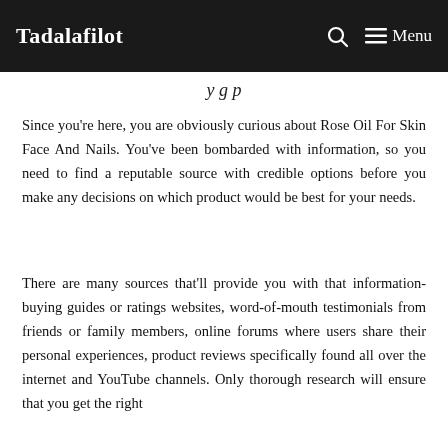Tadalafilot   🔍   ☰ Menu
y g p
Since you're here, you are obviously curious about Rose Oil For Skin Face And Nails. You've been bombarded with information, so you need to find a reputable source with credible options before you make any decisions on which product would be best for your needs.
There are many sources that'll provide you with that information- buying guides or ratings websites, word-of-mouth testimonials from friends or family members, online forums where users share their personal experiences, product reviews specifically found all over the internet and YouTube channels. Only thorough research will ensure that you get the right